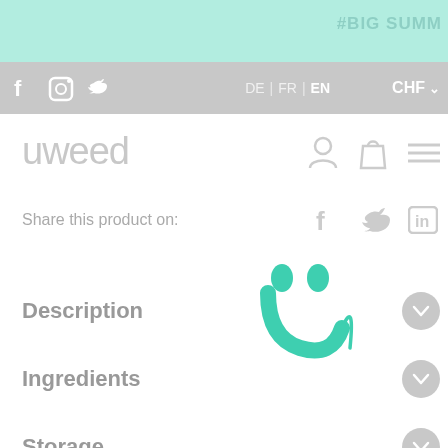#BIG SUMM
f  [instagram]  [twitter]   DE | FR | EN   CHF
uweed
Share this product on:
[Figure (logo): Uweed smiley face logo in mint/teal color]
Description
Ingredients
Storage